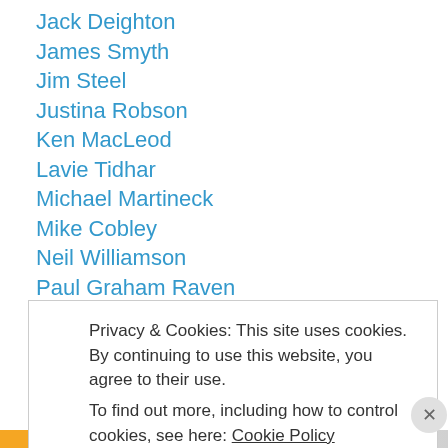Jack Deighton
James Smyth
Jim Steel
Justina Robson
Ken MacLeod
Lavie Tidhar
Michael Martineck
Mike Cobley
Neil Williamson
Paul Graham Raven
Rochita Loenen-Ruiz
Tony Ballantyne
Tricia Sullivan
Privacy & Cookies: This site uses cookies. By continuing to use this website, you agree to their use. To find out more, including how to control cookies, see here: Cookie Policy
Close and accept